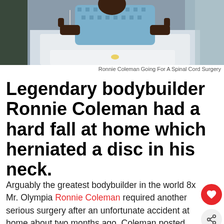[Figure (photo): Ronnie Coleman lying in a hospital bed with thumbs up, wearing a hospital gown, with medical equipment visible]
Ronnie Coleman Going For A Spinal Cord Surgery
Legendary bodybuilder Ronnie Coleman had a hard fall at home which herniated a disc in his neck.
Arguably the greatest bodybuilder in the world 8x Mr. Olympia Ronnie Coleman required another serious surgery after an unfortunate accident at home about two months ago. Coleman posted this update on his Instagram and a picture of him in a